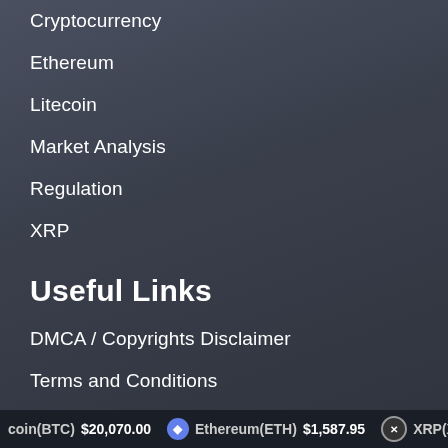Cryptocurrency
Ethereum
Litecoin
Market Analysis
Regulation
XRP
Useful Links
DMCA / Copyrights Disclaimer
Terms and Conditions
Whitelist Us
Disclaimer
coin(BTC) $20,070.00   Ethereum(ETH) $1,587.95   XRP(XRP